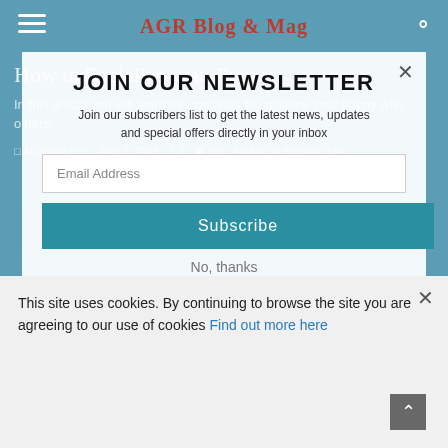AGR Blog & Mag
JOIN OUR NEWSLETTER
Join our subscribers list to get the latest news, updates and special offers directly in your inbox
Email Address
Subscribe
No, thanks
How to Socialize your Puppy
In this article you will learn the methods to socialize your puppy with others.
This site uses cookies. By continuing to browse the site you are agreeing to our use of cookies Find out more here